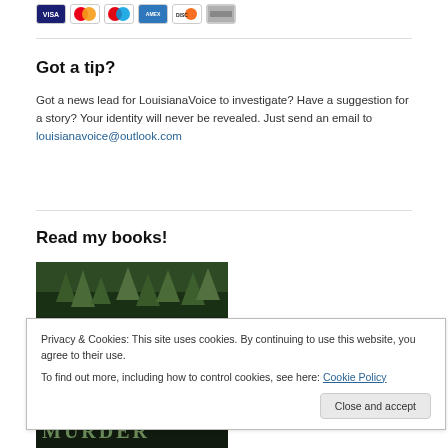[Figure (other): Row of payment card icons: Visa, Mastercard, Maestro, American Express, Discover, and one other]
Got a tip?
Got a news lead for LouisianaVoice to investigate? Have a suggestion for a story? Your identity will never be revealed. Just send an email to louisianavoice@outlook.com
Read my books!
[Figure (photo): Book cover with forest/trees imagery]
Privacy & Cookies: This site uses cookies. By continuing to use this website, you agree to their use.
To find out more, including how to control cookies, see here: Cookie Policy
[Figure (photo): Book cover showing text MURDER in stylized letters over dark forest background]